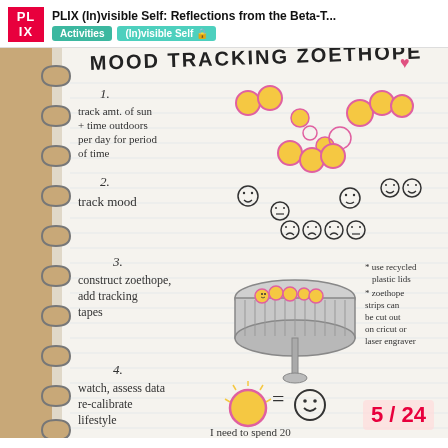PLIX (In)visible Self: Reflections from the Beta-T... | Activities | (In)visible Self
[Figure (photo): A hand-drawn notebook page titled 'MOOD TRACKING ZOOTROPE' with 4 numbered steps: 1. track amt. of sun + time outdoors per day for period of time; 2. track mood (with simple face emoticons); 3. construct zoethope, add tracking tapes (with drawing of a zoetrope and notes: use recycled plastic lids, zoethope strips can be cut out on cricut or laser engraver); 4. watch, assess data re-calibrate lifestyle (with sun circle = smiley face and text: I need to spend 20 minutes outside each day regardless of... to keep my moo...). Spiral-bound notebook on wooden table.]
5 / 24